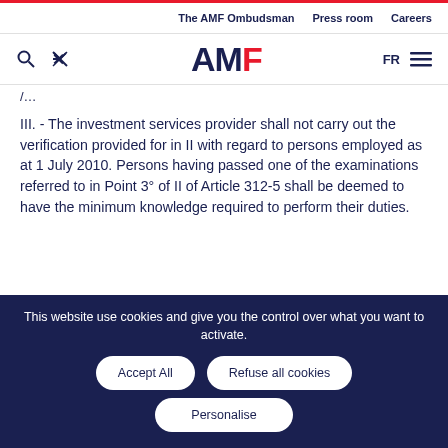The AMF Ombudsman | Press room | Careers
[Figure (logo): AMF logo with search and tool icons, FR language selector and hamburger menu]
III. - The investment services provider shall not carry out the verification provided for in II with regard to persons employed as at 1 July 2010. Persons having passed one of the examinations referred to in Point 3° of II of Article 312-5 shall be deemed to have the minimum knowledge required to perform their duties.
This website use cookies and give you the control over what you want to activate.
Accept All | Refuse all cookies | Personalise